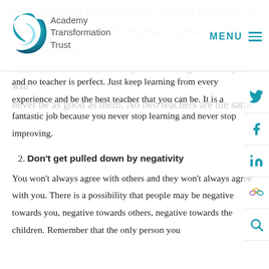Academy Transformation Trust | MENU
the long-term. If you keep doing your best every day, the chances are that you will see great progress over time. You will look at other teachers and think they are amazing and that you will never be as good as them. No two teachers are the same
and no teacher is perfect. Just keep learning from every experience and be the best teacher that you can be. It is a fantastic job because you never stop learning and never stop improving.
2. Don't get pulled down by negativity
You won't always agree with others and they won't always agree with you. There is a possibility that people may be negative towards you, negative towards others, negative towards the children. Remember that the only person you